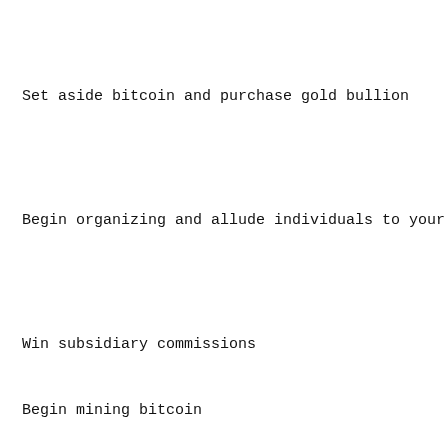Set aside bitcoin and purchase gold bullion
Begin organizing and allude individuals to your technique
Win subsidiary commissions
Begin mining bitcoin